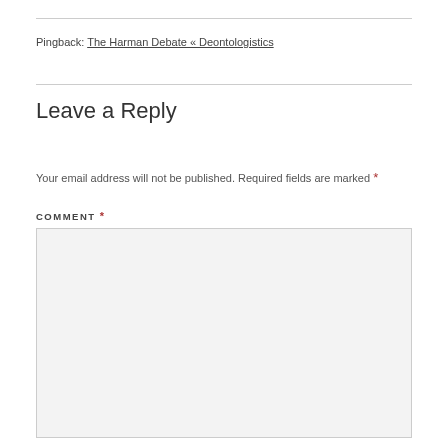Pingback: The Harman Debate « Deontologistics
Leave a Reply
Your email address will not be published. Required fields are marked *
COMMENT *